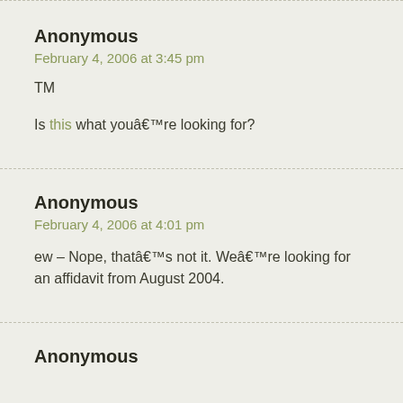Anonymous
February 4, 2006 at 3:45 pm
TM
Is this what youâ€™re looking for?
Anonymous
February 4, 2006 at 4:01 pm
ew – Nope, thatâ€™s not it. Weâ€™re looking for an affidavit from August 2004.
Anonymous